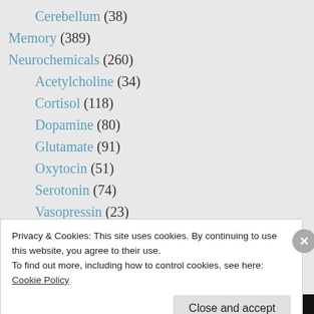Cerebellum (38)
Memory (389)
Neurochemicals (260)
Acetylcholine (34)
Cortisol (118)
Dopamine (80)
Glutamate (91)
Oxytocin (51)
Serotonin (74)
Vasopressin (23)
Primal Therapy (83)
Stress (540)
Telomeres (64)
Testosterone (40)
Privacy & Cookies: This site uses cookies. By continuing to use this website, you agree to their use.
To find out more, including how to control cookies, see here: Cookie Policy